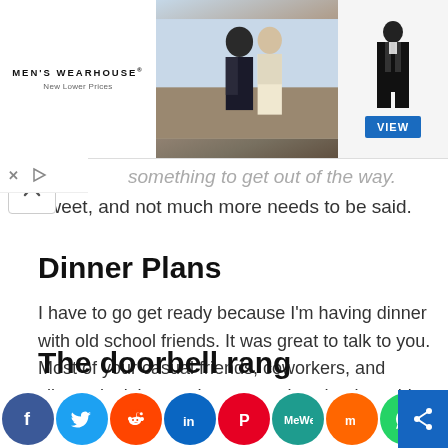[Figure (photo): Men's Wearhouse advertisement banner showing a couple in formal wear and a man in a tuxedo with a VIEW button]
something to get out of the way. Simple and sweet, and not much more needs to be said.
Dinner Plans
I have to go get ready because I'm having dinner with old school friends. It was great to talk to you. Most of your casual friends, coworkers, and clients don't know who you are in school, so this simple dinner plan should be enough to feed everyone.
The doorbell rang
[Figure (infographic): Social media share bar with icons for Facebook, Twitter, Reddit, LinkedIn, Pinterest, MeWe, Mix, WhatsApp, and Share]